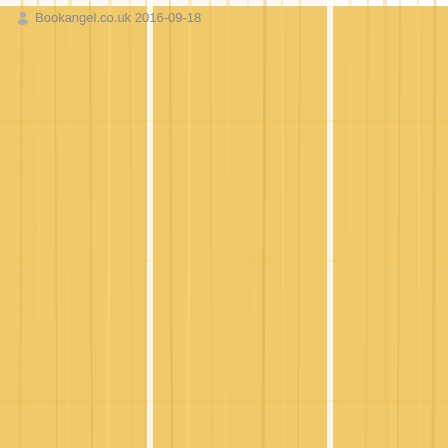[Figure (photo): Wood grain texture background with vertical streaks in warm golden/honey tones. Three vertical panel divisions are faintly visible. A thin white bar appears at the very top.]
Bookangel.co.uk 2016-09-18